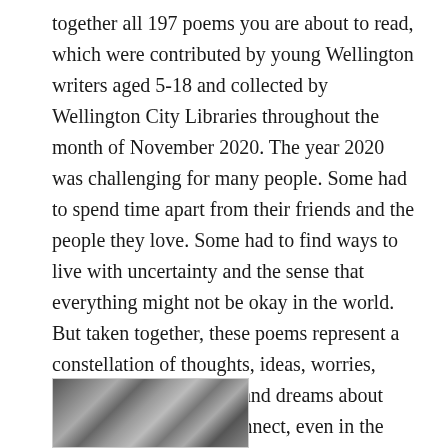together all 197 poems you are about to read, which were contributed by young Wellington writers aged 5-18 and collected by Wellington City Libraries throughout the month of November 2020. The year 2020 was challenging for many people. Some had to spend time apart from their friends and the people they love. Some had to find ways to live with uncertainty and the sense that everything might not be okay in the world. But taken together, these poems represent a constellation of thoughts, ideas, worries, anxieties, hopes, loves, and dreams about how we find ways to connect, even in the face of adversity. (Overdrive description)
[Figure (photo): Partial view of a book cover or photograph showing abstract diagonal lines or pages, cropped at bottom of page]